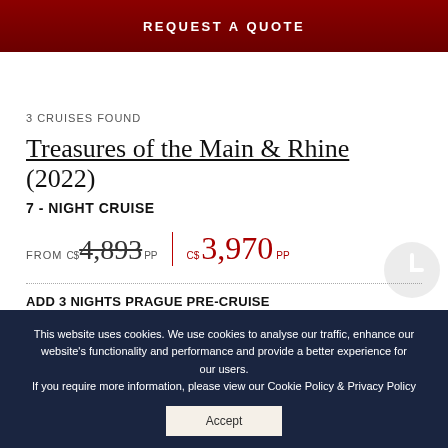REQUEST A QUOTE
3 CRUISES FOUND
Treasures of the Main & Rhine (2022)
7 - NIGHT CRUISE
FROM C$ 4,893 PP | C$ 3,970 PP
ADD 3 NIGHTS PRAGUE PRE-CRUISE C$ 1,187 PP
Cruise from Nuremberg to Amsterdam
COUNTRIES: CZECH REPUBLIC, GERMANY, NETHERLANDS
This website uses cookies. We use cookies to analyse our traffic, enhance our website's functionality and performance and provide a better experience for our users. If you require more information, please view our Cookie Policy & Privacy Policy
Accept